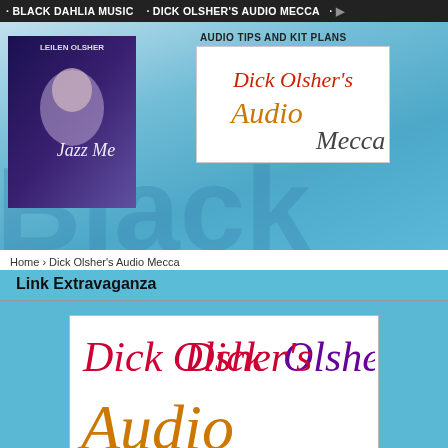· BLACK DAHLIA MUSIC   · DICK OLSHER'S AUDIO MECCA  · ...
[Figure (illustration): Album cover showing 'Jazz Me' by Leilen Olsher with a woman's photo on a purple background]
AUDIO TIPS AND KIT PLANS
[Figure (logo): Dick Olsher's Audio Mecca logo - small version with colorful script lettering on white background]
Home › Dick Olsher's Audio Mecca
Link Extravaganza
[Figure (logo): Dick Olsher's Audio Mecca logo - large version with colorful script lettering: 'Dick Olsher's' in red/purple, 'Audio' in orange/black script, 'Mecca' in green, on white background]